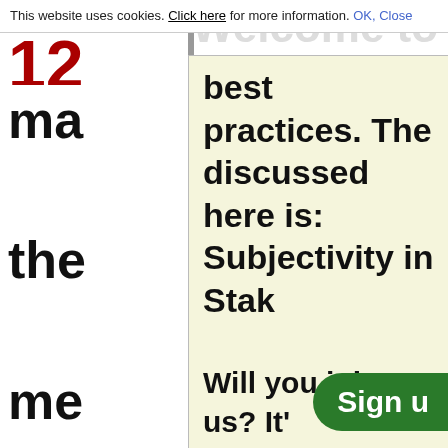This website uses cookies. Click here for more information. OK, Close
12
best practices. The discussed here is: Subjectivity in Stak
ma the me per inc sta
Will you join us? It'
Sign u